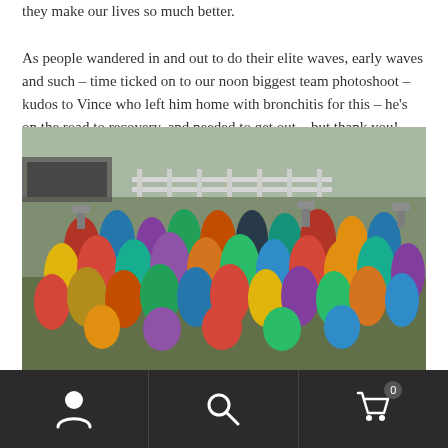they make our lives so much better.

As people wandered in and out to do their elite waves, early waves and such – time ticked on to our noon biggest team photoshoot – kudos to Vince who left him home with bronchitis for this – he's on the road to recovery, and needed to get out – but thank you! Onesies on! Team assembled!
[Figure (photo): Large group photo of people in colorful onesie costumes assembled outdoors at what appears to be a race or obstacle course event, with a white wooden fence in the background.]